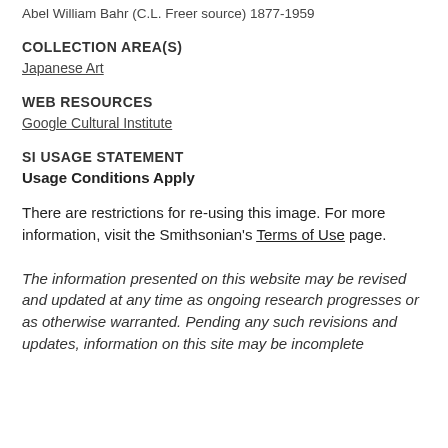Abel William Bahr (C.L. Freer source) 1877-1959
COLLECTION AREA(S)
Japanese Art
WEB RESOURCES
Google Cultural Institute
SI USAGE STATEMENT
Usage Conditions Apply
There are restrictions for re-using this image. For more information, visit the Smithsonian's Terms of Use page.
The information presented on this website may be revised and updated at any time as ongoing research progresses or as otherwise warranted. Pending any such revisions and updates, information on this site may be incomplete